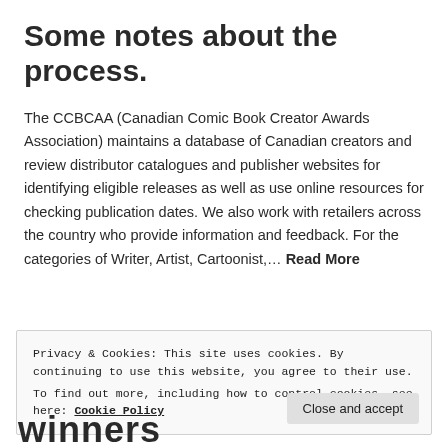Some notes about the process.
The CCBCAA (Canadian Comic Book Creator Awards Association) maintains a database of Canadian creators and review distributor catalogues and publisher websites for identifying eligible releases as well as use online resources for checking publication dates. We also work with retailers across the country who provide information and feedback. For the categories of Writer, Artist, Cartoonist,… Read More
Privacy & Cookies: This site uses cookies. By continuing to use this website, you agree to their use.
To find out more, including how to control cookies, see here: Cookie Policy
Close and accept
winners